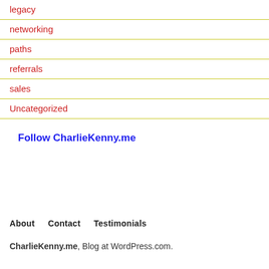legacy
networking
paths
referrals
sales
Uncategorized
Follow CharlieKenny.me
About   Contact   Testimonials
CharlieKenny.me, Blog at WordPress.com.